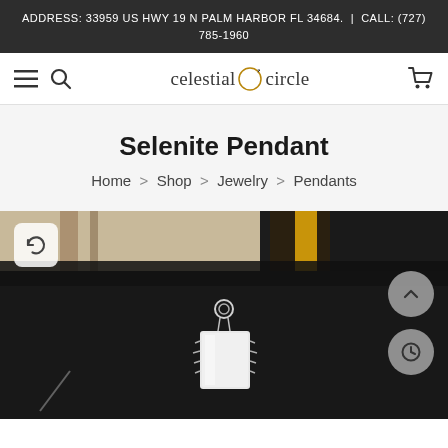ADDRESS: 33959 US HWY 19 N PALM HARBOR FL 34684. | CALL: (727) 785-1960
[Figure (logo): Celestial Circle logo with moon icon and nav icons (hamburger, search, cart)]
Selenite Pendant
Home > Shop > Jewelry > Pendants
[Figure (photo): Product photo of a Selenite Pendant - a white/pale crystal pendant wrapped in silver wire against a dark background with fabric texture visible at top. Overlay buttons include a refresh icon (top left), up arrow (right middle), and clock/history icon (right lower).]